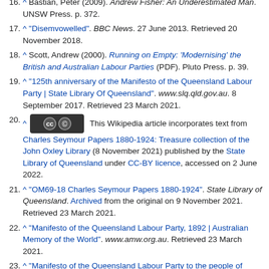16. ^ Bastian, Peter (2009). Andrew Fisher: An Underestimated Man. UNSW Press. p. 372.
17. ^ "Disemvowelled". BBC News. 27 June 2013. Retrieved 20 November 2018.
18. ^ Scott, Andrew (2000). Running on Empty: 'Modernising' the British and Australian Labour Parties (PDF). Pluto Press. p. 39.
19. ^ "125th anniversary of the Manifesto of the Queensland Labour Party | State Library Of Queensland". www.slq.qld.gov.au. 8 September 2017. Retrieved 23 March 2021.
20. ^ [CC BY badge] This Wikipedia article incorporates text from Charles Seymour Papers 1880-1924: Treasure collection of the John Oxley Library (8 November 2021) published by the State Library of Queensland under CC-BY licence, accessed on 2 June 2022.
21. ^ "OM69-18 Charles Seymour Papers 1880-1924". State Library of Queensland. Archived from the original on 9 November 2021. Retrieved 23 March 2021.
22. ^ "Manifesto of the Queensland Labour Party, 1892 | Australian Memory of the World". www.amw.org.au. Retrieved 23 March 2021.
23. ^ "Manifesto of the Queensland Labour Party to the people of Queensland (dated 9 September 1892) | United Nations Educational, Scientific and Cultural Organization". www.unesco.org. Retrieved 23 March 2021.